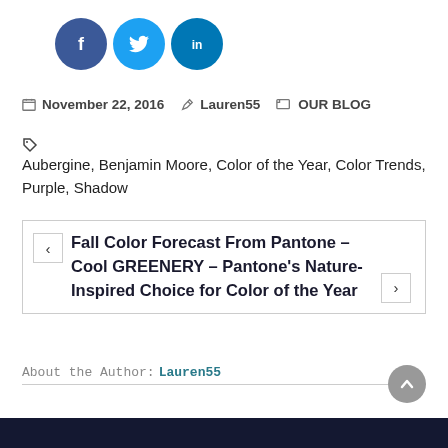[Figure (logo): Social media icons: Facebook (dark blue circle with f), Twitter (light blue circle with bird), LinkedIn (teal circle with in)]
November 22, 2016  Lauren55  OUR BLOG
Aubergine, Benjamin Moore, Color of the Year, Color Trends, Purple, Shadow
Fall Color Forecast From Pantone – Cool GREENERY – Pantone's Nature-Inspired Choice for Color of the Year
About the Author: Lauren55